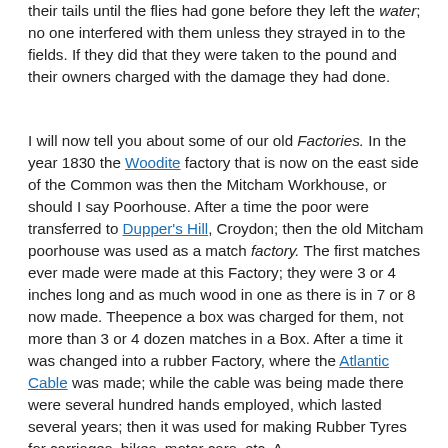their tails until the flies had gone before they left the water; no one interfered with them unless they strayed in to the fields. If they did that they were taken to the pound and their owners charged with the damage they had done.
I will now tell you about some of our old Factories. In the year 1830 the Woodite factory that is now on the east side of the Common was then the Mitcham Workhouse, or should I say Poorhouse. After a time the poor were transferred to Dupper's Hill, Croydon; then the old Mitcham poorhouse was used as a match factory. The first matches ever made were made at this Factory; they were 3 or 4 inches long and as much wood in one as there is in 7 or 8 now made. Theepence a box was charged for them, not more than 3 or 4 dozen matches in a Box. After a time it was changed into a rubber Factory, where the Atlantic Cable was made; while the cable was being made there were several hundred hands employed, which lasted several years; then it was used for making Rubber Tyres for carriages, bikes, motor cars, etc. A